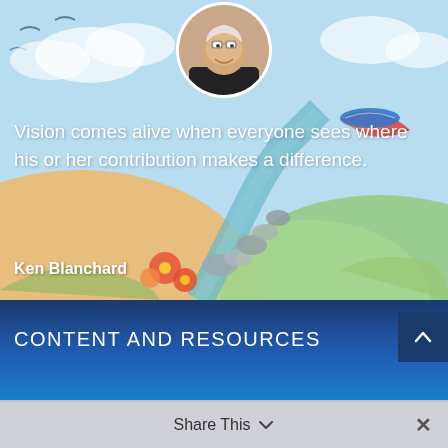[Figure (illustration): Watercolor mural background depicting a serene landscape with a stream, flowers, clouds, birds, and colorful painted elements. A circular profile photo of Ken Blanchard (older man with glasses, smiling, in dark shirt) appears at the top center.]
Vision comes alive when everyone sees where his or her contribution makes a difference.
Ken Blanchard
CONTENT AND RESOURCES
Share This ∨  ✕